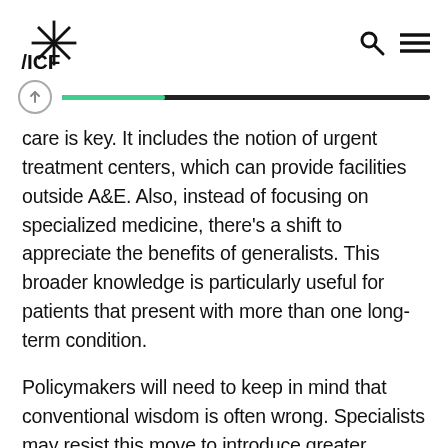ICF
care is key. It includes the notion of urgent treatment centers, which can provide facilities outside A&E. Also, instead of focusing on specialized medicine, there’s a shift to appreciate the benefits of generalists. This broader knowledge is particularly useful for patients that present with more than one long-term condition.
Policymakers will need to keep in mind that conventional wisdom is often wrong. Specialists may resist this move to introduce greater generalists, fearing that it may diminish expertise.